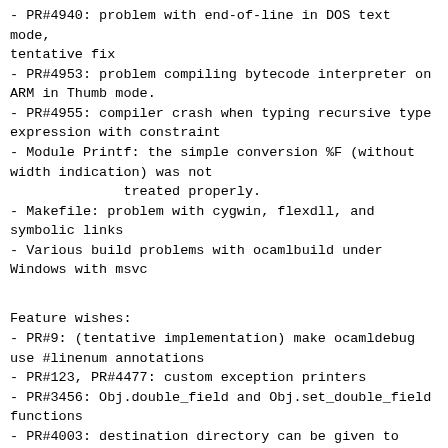- PR#4940: problem with end-of-line in DOS text mode, tentative fix
- PR#4953: problem compiling bytecode interpreter on ARM in Thumb mode.
- PR#4955: compiler crash when typing recursive type expression with constraint
- Module Printf: the simple conversion %F (without width indication) was not treated properly.
- Makefile: problem with cygwin, flexdll, and symbolic links
- Various build problems with ocamlbuild under Windows with msvc
Feature wishes:
- PR#9: (tentative implementation) make ocamldebug use #linenum annotations
- PR#123, PR#4477: custom exception printers
- PR#3456: Obj.double_field and Obj.set_double_field functions
- PR#4003: destination directory can be given to Filename.[open_]temp_file
- PR#4647: Buffer.blit function
- PR#4685: access to Filename.dir_sep
- PR#4703: support for debugging embedded applications
- PR#4723: "clear_rules" function to empty the set of ocamlbuild rules
- PR#4921: configure option to help cross-compilers